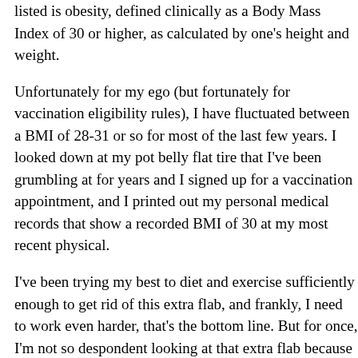listed is obesity, defined clinically as a Body Mass Index of 30 or higher, as calculated by one's height and weight.
Unfortunately for my ego (but fortunately for vaccination eligibility rules), I have fluctuated between a BMI of 28-31 or so for most of the last few years. I looked down at my pot belly flat tire that I've been grumbling at for years and I signed up for a vaccination appointment, and I printed out my personal medical records that show a recorded BMI of 30 at my most recent physical.
I've been trying my best to diet and exercise sufficiently enough to get rid of this extra flab, and frankly, I need to work even harder, that's the bottom line. But for once, I'm not so despondent looking at that extra flab because it may be enough to help me reach the light at the end of this dark, year-long tunnel.